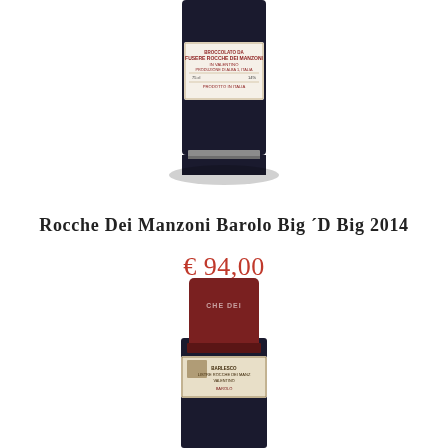[Figure (photo): Top portion of a dark wine bottle with a red and white label reading 'FUSERE ROCCHE DEI MANZONI IN VALENTINO - Barolo Big D Big 2014', partially cropped at top]
Rocche Dei Manzoni Barolo Big ´D Big 2014
€ 94,00
[Figure (photo): Top portion of another dark wine bottle with a dark red foil capsule reading 'CHE DEI' and a label below it, partially cropped at bottom of page]